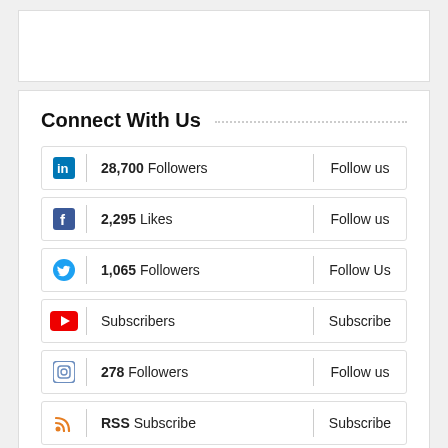Connect With Us
28,700 Followers | Follow us (LinkedIn)
2,295 Likes | Follow us (Facebook)
1,065 Followers | Follow Us (Twitter)
Subscribers | Subscribe (YouTube)
278 Followers | Follow us (Instagram)
RSS Subscribe | Subscribe